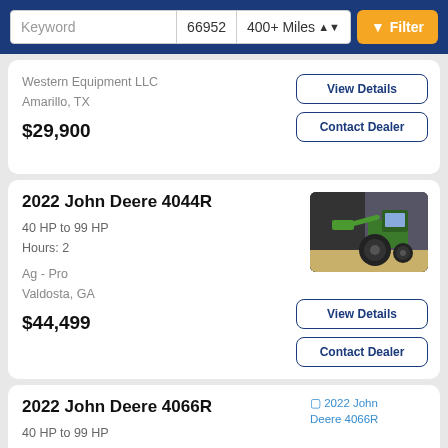Keyword | 66952 | 400+ Miles | Filter
Western Equipment LLC
Amarillo, TX
$29,900
2022 John Deere 4044R
40 HP to 99 HP
Hours: 2
Ag - Pro
Valdosta, GA
$44,499
2022 John Deere 4066R
40 HP to 99 HP